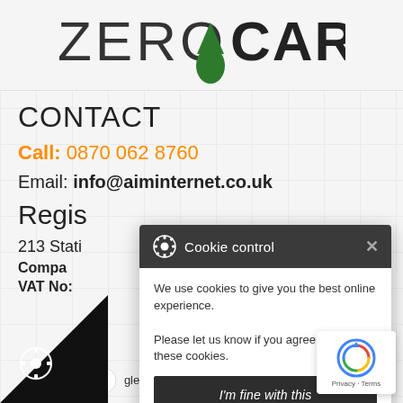[Figure (logo): Zero Carbon logo with green teardrop icon and text ZERO CARBON]
CONTACT
Call: 0870 062 8760
Email: info@aiminternet.co.uk
Registered...
213 Station Road... Birmingham B33 8BB
Company No:
VAT No:
[Figure (screenshot): Cookie control popup dialog with header showing gear icon and 'Cookie control' text with close X button, body text 'We use cookies to give you the best online experience. Please let us know if you agree to all of these cookies.', a dark button 'I'm fine with this', and links 'Information and Settings' and 'Cookie policy']
[Figure (logo): Google reCAPTCHA badge bottom right showing circular arrow logo and Privacy · Terms text]
gle Partner